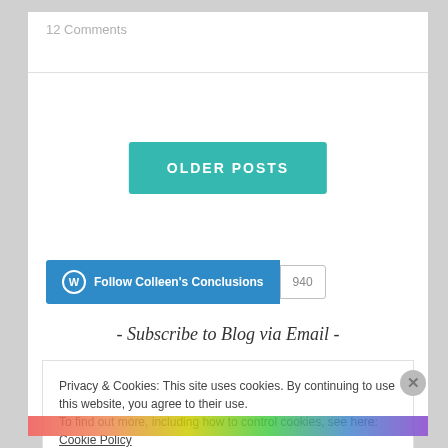12 Comments
OLDER POSTS
Follow Colleen's Conclusions  940
- Subscribe to Blog via Email -
Privacy & Cookies: This site uses cookies. By continuing to use this website, you agree to their use.
To find out more, including how to control cookies, see here: Cookie Policy
Close and accept